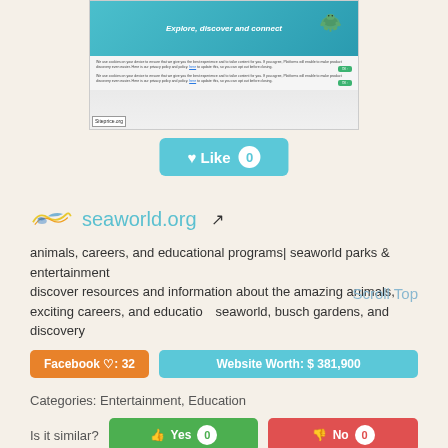[Figure (screenshot): Screenshot of seaworld.org website showing 'Explore, discover and connect' header with teal ocean background and turtle image, plus cookie consent overlays, and siteprice.org watermark]
♥ Like 0
seaworld.org
animals, careers, and educational programs| seaworld parks & entertainment
discover resources and information about the amazing animals, exciting careers, and education seaworld, busch gardens, and discovery
Scroll Top
Facebook ♡: 32
Website Worth: $ 381,900
Categories: Entertainment, Education
Is it similar?
Yes 0
No 0